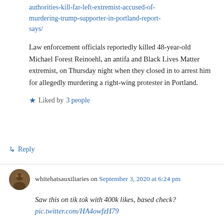authorities-kill-far-left-extremist-accused-of-murdering-trump-supporter-in-portland-report-says/
Law enforcement officials reportedly killed 48-year-old Michael Forest Reinoehl, an antifa and Black Lives Matter extremist, on Thursday night when they closed in to arrest him for allegedly murdering a right-wing protester in Portland.
Liked by 3 people
↳ Reply
whitehatsauxiliaries on September 3, 2020 at 6:24 pm
Saw this on tik tok with 400k likes, based check?
pic.twitter.com/HA4owfzH79